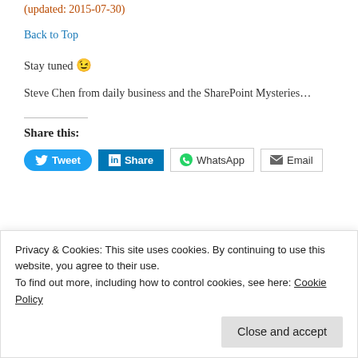(updated: 2015-07-30)
Back to Top
Stay tuned 😉
Steve Chen from daily business and the SharePoint Mysteries…
Share this:
[Figure (other): Social share buttons: Tweet (Twitter), Share (LinkedIn), WhatsApp, Email]
Privacy & Cookies: This site uses cookies. By continuing to use this website, you agree to their use.
To find out more, including how to control cookies, see here: Cookie Policy
Close and accept